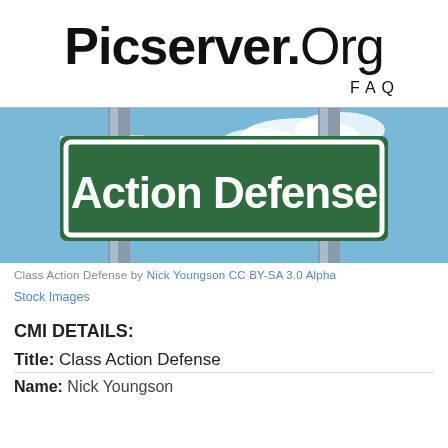Picserver.Org
FAQ
[Figure (photo): Street sign reading 'Action Defense' on metal poles against a blue sky with clouds]
Class Action Defense by Nick Youngson CC BY-SA 3.0 Alpha Stock Images
CMI DETAILS:
Title: Class Action Defense
Name: Nick Youngson